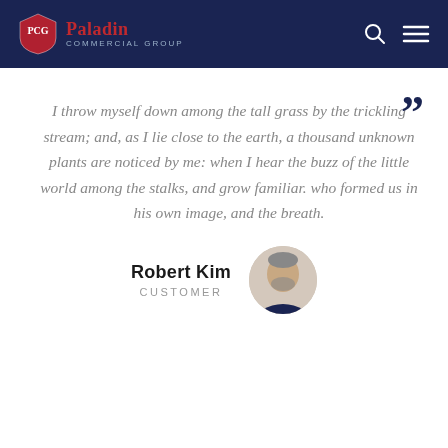Paladin Commercial Group
I throw myself down among the tall grass by the trickling stream; and, as I lie close to the earth, a thousand unknown plants are noticed by me: when I hear the buzz of the little world among the stalks, and grow familiar. who formed us in his own image, and the breath.
Robert Kim
CUSTOMER